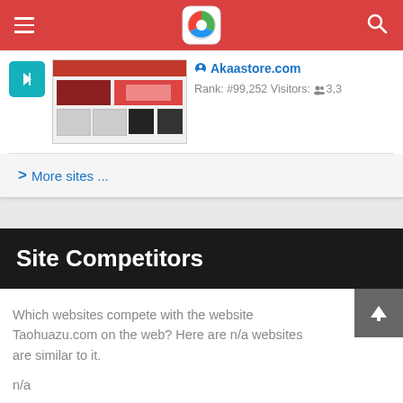Navigation bar with hamburger menu, logo, and search icon
[Figure (screenshot): Thumbnail screenshot of Akaastore.com website]
Akaastore.com
Rank: #99,252 Visitors: 3,3
> More sites ...
Site Competitors
Which websites compete with the website Taohuazu.com on the web? Here are n/a websites are similar to it.
n/a